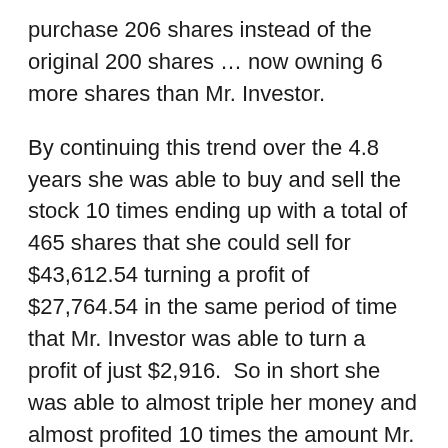purchase 206 shares instead of the original 200 shares … now owning 6 more shares than Mr. Investor.
By continuing this trend over the 4.8 years she was able to buy and sell the stock 10 times ending up with a total of 465 shares that she could sell for $43,612.54 turning a profit of $27,764.54 in the same period of time that Mr. Investor was able to turn a profit of just $2,916.  So in short she was able to almost triple her money and almost profited 10 times the amount Mr. Investor profited.
Here’s a snapshot of her “equity line.”